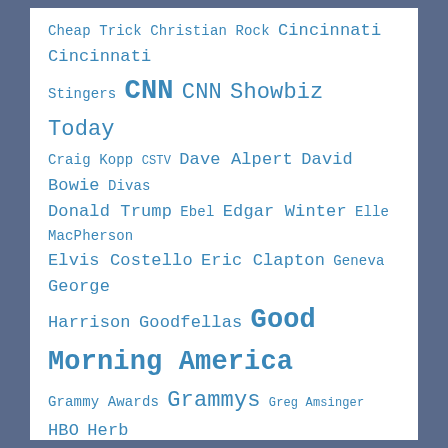[Figure (infographic): Tag cloud featuring names and topics in blue monospace font on white background with blue-grey side borders. Terms vary in font size indicating frequency/importance. Terms include: Cheap Trick, Christian Rock, Cincinnati, Cincinnati Stingers, CNN, CNN Showbiz Today, Craig Kopp, CSTV, Dave Alpert, David Bowie, Divas, Donald Trump, Ebel, Edgar Winter, Elle MacPherson, Elvis Costello, Eric Clapton, Geneva, George Harrison, Goodfellas, Good Morning America, Grammy Awards, Grammys, Greg Amsinger, HBO, Herb Brooks, Jackson Browne, James Taylor, Jane Fonda, Janet Jone-Gretzky, Jerry Rubin, Jessica Simpson, Jim Craig, Jimmy Page, John Hewig, John Lennon, John McLaughlin, John Mellencamp, Kool, More Dee, Kurt Russell, Lake Placid, Laurin Sydney, Led Zeppelin, Lionel Richie, LL Cool J, Madonna]